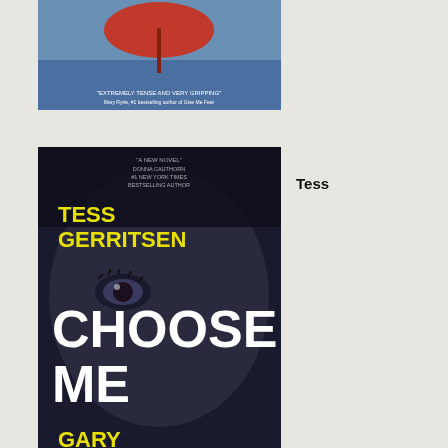[Figure (photo): Book cover partially visible at top - red umbrella design]
[Figure (photo): Book cover: Tess Gerritsen and Gary Braver - Choose Me, showing a woman's face with dramatic lighting, yellow and white text on dark background]
Tess
Gerritsen: Choose Me
[Figure (photo): Book cover: Tess Gerritsen - The Sinner: A Rizzoli and Isles Thriller, dark cover with hands]
Tess
Gerritsen: The Sinner: (Rizzoli & Isles series 3)
get
eve
rea
to
go
and
I
hav
nov
dec
tha
I
MU
go
bac
to
Ve
and
soc
Ear
tim
I
see